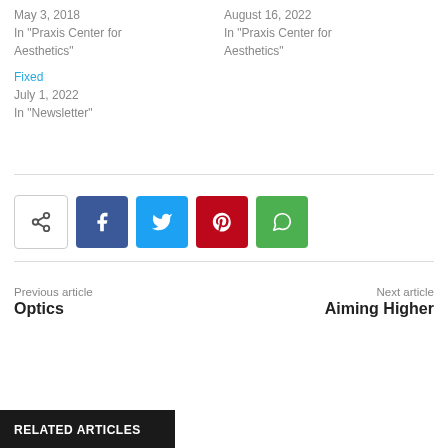May 3, 2018
In "Praxis Center for Aesthetics"
August 16, 2022
In "Praxis Center for Aesthetics"
Fixed
July 1, 2022
In "Newsletter"
[Figure (other): Social share buttons: share icon, Facebook, Twitter, Pinterest, WhatsApp]
Previous article
Optics
Next article
Aiming Higher
RELATED ARTICLES